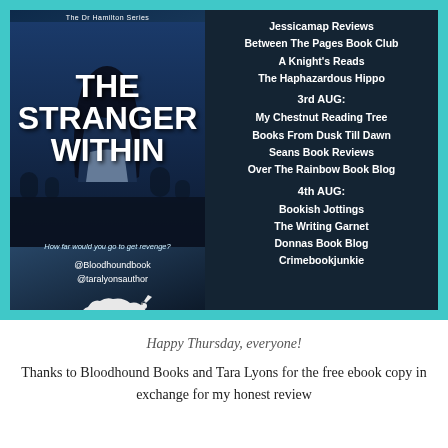[Figure (illustration): Book cover and blog tour promotional image for 'The Stranger Within' by Tara Lyons, part of The Dr Hamilton Series, published by Bloodhound Books. Left side shows book cover with silhouette of woman in cemetery. Right side lists blog tour stops including Jessicamap Reviews, Between The Pages Book Club, A Knight's Reads, The Haphazardous Hippo, 3rd AUG: My Chestnut Reading Tree, Books From Dusk Till Dawn, Seans Book Reviews, Over The Rainbow Book Blog, 4th AUG: Bookish Jottings, The Writing Garnet, Donnas Book Blog, Crimebookjunkie. Bottom shows @Bloodhoundbook @taralyonsauthor and Bloodhound Books logo.]
Happy Thursday, everyone!
Thanks to Bloodhound Books and Tara Lyons for the free ebook copy in exchange for my honest review